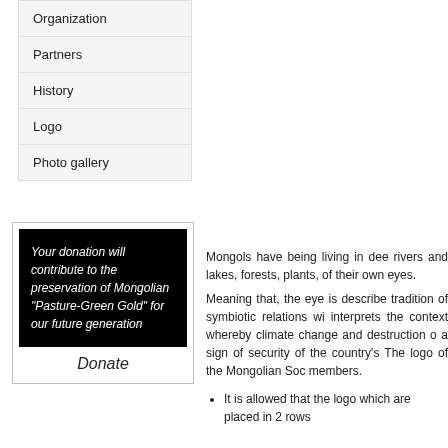Organization
Partners
History
Logo
Photo gallery
[Figure (other): Donate banner with black background and italic white text: 'Your donation will contribute to the preservation of Mongolian "Pasture-Green Gold" for our future generation']
Donate
Mongols have being living in dee rivers and lakes, forests, plants, of their own eyes. Meaning that, the eye is describe tradition of symbiotic relations wi interprets the context whereby climate change and destruction o a sign of security of the country's The logo of the Mongolian Soc members.
It is allowed that the logo which are placed in 2 rows